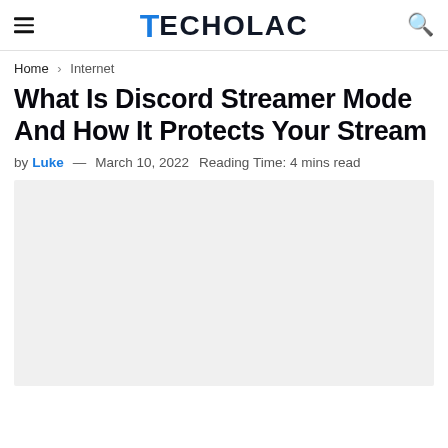TECHOLAC
Home > Internet
What Is Discord Streamer Mode And How It Protects Your Stream
by Luke — March 10, 2022  Reading Time: 4 mins read
[Figure (photo): Featured image placeholder, light gray background]